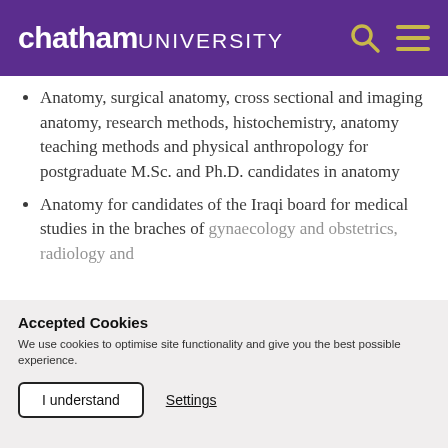chatham UNIVERSITY
Anatomy, surgical anatomy, cross sectional and imaging anatomy, research methods, histochemistry, anatomy teaching methods and physical anthropology for postgraduate M.Sc. and Ph.D. candidates in anatomy
Anatomy for candidates of the Iraqi board for medical studies in the braches of gynaecology and obstetrics, radiology and
Accepted Cookies
We use cookies to optimise site functionality and give you the best possible experience.
I understand   Settings